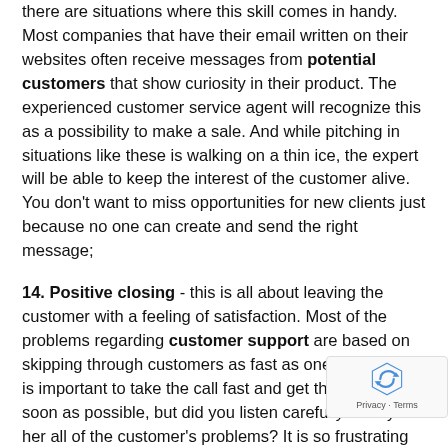there are situations where this skill comes in handy. Most companies that have their email written on their websites often receive messages from potential customers that show curiosity in their product. The experienced customer service agent will recognize this as a possibility to make a sale. And while pitching in situations like these is walking on a thin ice, the expert will be able to keep the interest of the customer alive. You don't want to miss opportunities for new clients just because no one can create and send the right message;
14. Positive closing - this is all about leaving the customer with a feeling of satisfaction. Most of the problems regarding customer support are based on skipping through customers as fast as one can. Yes, it is important to take the call fast and get things done as soon as possible, but did you listen carefully? Did you her all of the customer's problems? It is so frustrating for a customer to get booted without him explaining all the problems with the product. The good customer service agent will always wait for the customer to hang up when he explained all of his problems, asked all of his questions and is assured that his problems will be taken care of;
15. Attentiveness - this is one of the most important skills a customer agent should have. Being able to listen carefully what